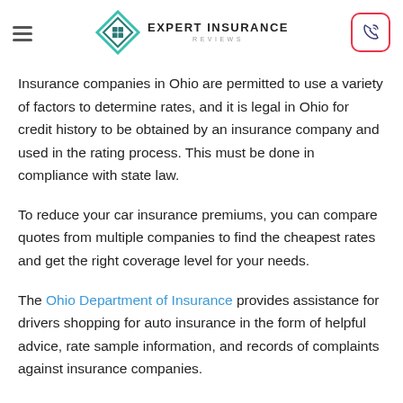Expert Insurance Reviews
Insurance companies in Ohio are permitted to use a variety of factors to determine rates, and it is legal in Ohio for credit history to be obtained by an insurance company and used in the rating process. This must be done in compliance with state law.
To reduce your car insurance premiums, you can compare quotes from multiple companies to find the cheapest rates and get the right coverage level for your needs.
The Ohio Department of Insurance provides assistance for drivers shopping for auto insurance in the form of helpful advice, rate sample information, and records of complaints against insurance companies.